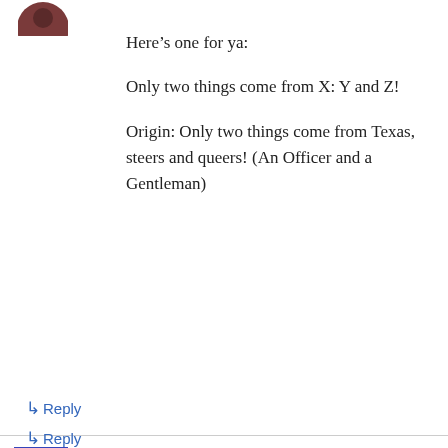[Figure (photo): Circular avatar image at top left]
Here's one for ya:

Only two things come from X: Y and Z!

Origin: Only two things come from Texas, steers and queers! (An Officer and a Gentleman)
↳ Reply
mcsully on January 9, 2008 at 7:17 am
WWYD -- What would X do?
Privacy & Cookies: This site uses cookies. By continuing to use this website, you agree to their use.
To find out more, including how to control cookies, see here: Cookie Policy
Close and accept
↳ Reply